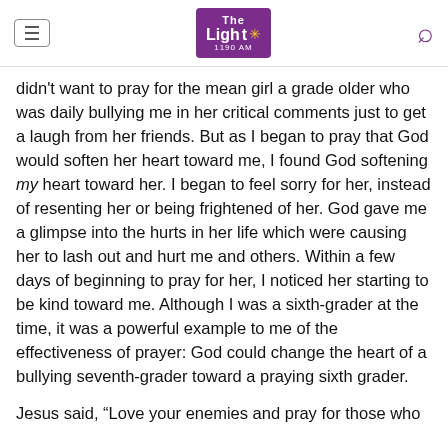The Light 1190 AM
didn't want to pray for the mean girl a grade older who was daily bullying me in her critical comments just to get a laugh from her friends. But as I began to pray that God would soften her heart toward me, I found God softening my heart toward her. I began to feel sorry for her, instead of resenting her or being frightened of her. God gave me a glimpse into the hurts in her life which were causing her to lash out and hurt me and others. Within a few days of beginning to pray for her, I noticed her starting to be kind toward me. Although I was a sixth-grader at the time, it was a powerful example to me of the effectiveness of prayer: God could change the heart of a bullying seventh-grader toward a praying sixth grader.
Jesus said, “Love your enemies and pray for those who